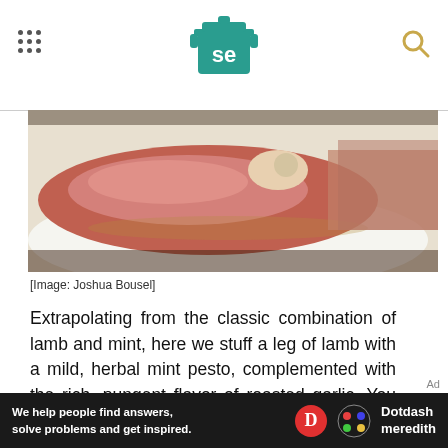Serious Eats (SE logo)
[Figure (photo): Close-up photo of sliced roasted leg of lamb on a white surface, showing pink interior meat with juices, held by a hand partially visible at right]
[Image: Joshua Bousel]
Extrapolating from the classic combination of lamb and mint, here we stuff a leg of lamb with a mild, herbal mint pesto, complemented with the rich, pungent flavor of roasted garlic. You could easily cook this using the same reverse-sear technique described in the previous leg of lamb recipe, but if you happen to be celebrating the holidays
[Figure (other): Dotdash Meredith advertisement banner: 'We help people find answers, solve problems and get inspired.' with Dotdash Meredith logo]